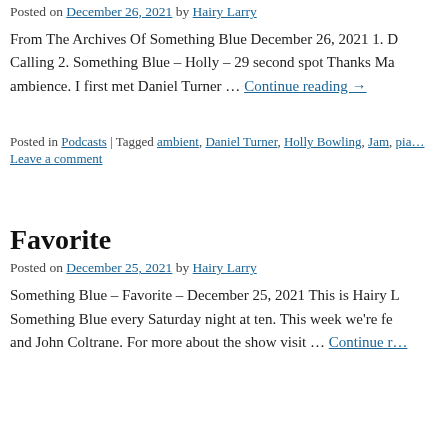Posted on December 26, 2021 by Hairy Larry
From The Archives Of Something Blue December 26, 2021 1. D… Calling 2. Something Blue – Holly – 29 second spot Thanks Ma… ambience. I first met Daniel Turner … Continue reading →
Posted in Podcasts | Tagged ambient, Daniel Turner, Holly Bowling, Jam, pia… Leave a comment
Favorite
Posted on December 25, 2021 by Hairy Larry
Something Blue – Favorite – December 25, 2021 This is Hairy L… Something Blue every Saturday night at ten. This week we're fe… and John Coltrane. For more about the show visit … Continue r…